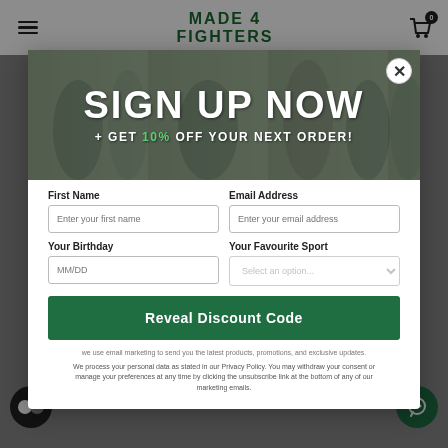MADE 4 FIGHTERS — Navigation header with hamburger menu and cart icon
[Figure (screenshot): Modal popup overlay on e-commerce website. Banner with text: SIGN UP NOW + GET 10% OFF YOUR NEXT ORDER!]
SIGN UP NOW
+ GET 10% OFF YOUR NEXT ORDER!
First Name
Email Address
Your Birthday
Your Favourite Sport
Reveal Discount Code
we use email marketing to send you the latest products, promotions, and exclusive updates.
We process your personal data as stated in our Privacy Policy. You may withdraw your consent or manage your preferences at any time by clicking the unsubscribe link at the bottom of any of our marketing emails.